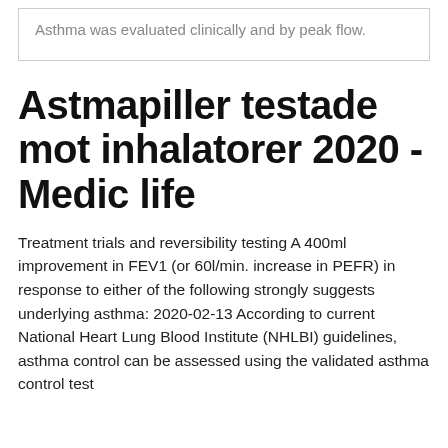Asthma was evaluated clinically and by peak flow.
Astmapiller testade mot inhalatorer 2020 - Medic life
Treatment trials and reversibility testing A 400ml improvement in FEV1 (or 60l/min. increase in PEFR) in response to either of the following strongly suggests underlying asthma: 2020-02-13 According to current National Heart Lung Blood Institute (NHLBI) guidelines, asthma control can be assessed using the validated asthma control test